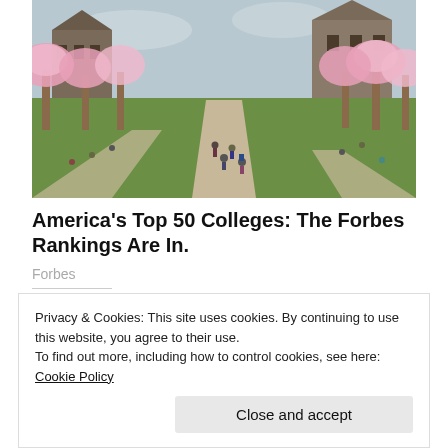[Figure (photo): Campus photo showing a wide quadrangle lined with blooming cherry blossom trees in pink, green lawns with students relaxing and walking, stone paths converging toward large brick university buildings in the background under an overcast sky.]
America's Top 50 Colleges: The Forbes Rankings Are In.
Forbes
Share this:
Privacy & Cookies: This site uses cookies. By continuing to use this website, you agree to their use.
To find out more, including how to control cookies, see here: Cookie Policy
Close and accept